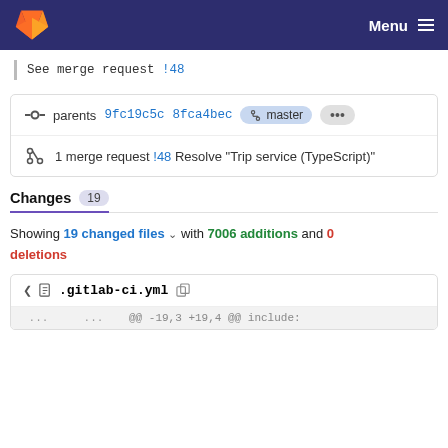GitLab | Menu
See merge request !48
parents 9fc19c5c 8fca4bec  master  ...
1 merge request !48 Resolve "Trip service (TypeScript)"
Changes 19
Showing 19 changed files with 7006 additions and 0 deletions
.gitlab-ci.yml
... ... @@ -19,3 +19,4 @@ include: